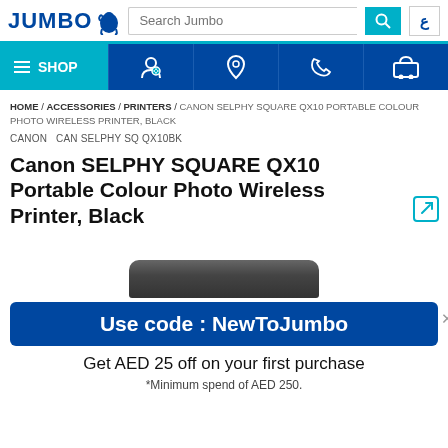[Figure (logo): JUMBO logo with blue text and elephant icon]
[Figure (screenshot): Navigation bar with SHOP, account, location, phone, and cart icons]
HOME / ACCESSORIES / PRINTERS / CANON SELPHY SQUARE QX10 PORTABLE COLOUR PHOTO WIRELESS PRINTER, BLACK
CANON  CAN SELPHY SQ QX10BK
Canon SELPHY SQUARE QX10 Portable Colour Photo Wireless Printer, Black
[Figure (photo): Canon SELPHY SQUARE QX10 Portable Colour Photo Wireless Printer in Black, partial view showing top of printer]
Use code : NewToJumbo
Get AED 25 off on your first purchase
*Minimum spend of AED 250.